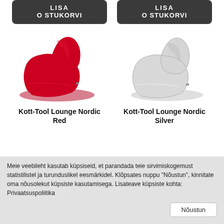[Figure (photo): Two dark grey rounded rectangle buttons side by side, each reading LISA OSTUKORVI]
[Figure (photo): Red bean bag lounge chair (Kott-Tool Lounge Nordic Red) on the left, silver/grey bean bag lounge chair (Kott-Tool Lounge Nordic Silver) on the right]
Kott-Tool Lounge Nordic Red
Kott-Tool Lounge Nordic Silver
Meie veebileht kasutab küpsiseid, et parandada teie sirvimiskogemust statistilistel ja turunduslikel eesmärkidel. Klõpsates nuppu "Nõustun", kinnitate oma nõusolekut küpsiste kasutamisega. Lisateave küpsiste kohta: Privaatsuspoliitika
Nõustun